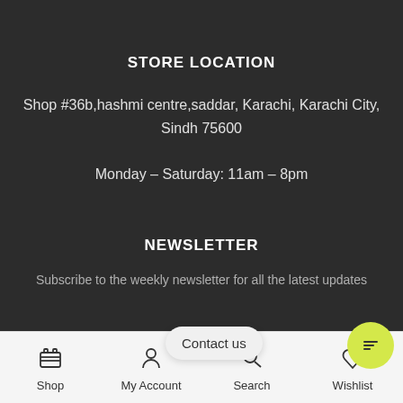STORE LOCATION
Shop #36b,hashmi centre,saddar, Karachi, Karachi City, Sindh 75600
Monday – Saturday: 11am – 8pm
NEWSLETTER
Subscribe to the weekly newsletter for all the latest updates
Shop | My Account | Search | Wishlist